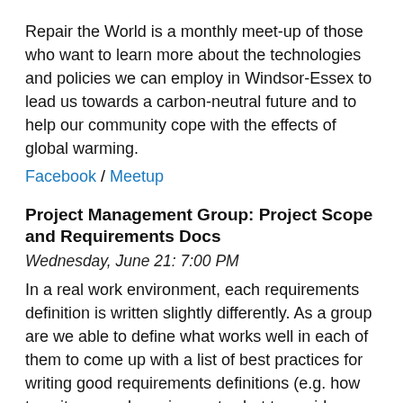Repair the World is a monthly meet-up of those who want to learn more about the technologies and policies we can employ in Windsor-Essex to lead us towards a carbon-neutral future and to help our community cope with the effects of global warming. Facebook / Meetup
Project Management Group: Project Scope and Requirements Docs
Wednesday, June 21: 7:00 PM
In a real work environment, each requirements definition is written slightly differently. As a group are we able to define what works well in each of them to come up with a list of best practices for writing good requirements definitions (e.g. how to write a good requirement, what to avoid, sections to include in the document, etc.). We are looking for examples of well-written scope documents and requirements definition documents, so bring your